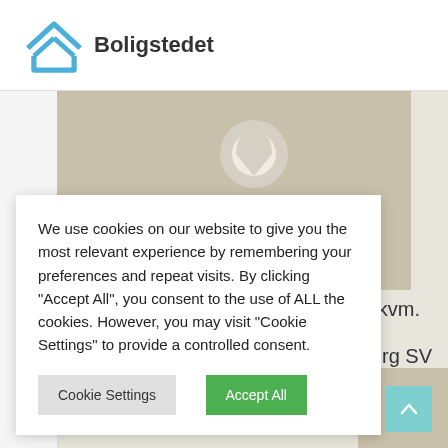[Figure (logo): Boligstedet logo: a blue house chevron/triangle outline icon with the text 'Boligstedet' in dark bold font]
[Figure (map): A map background showing a tan/beige block area with a location pin marker in the center]
kvm.
Aalborg SV
We use cookies on our website to give you the most relevant experience by remembering your preferences and repeat visits. By clicking "Accept All", you consent to the use of ALL the cookies. However, you may visit "Cookie Settings" to provide a controlled consent.
Cookie Settings
Accept All